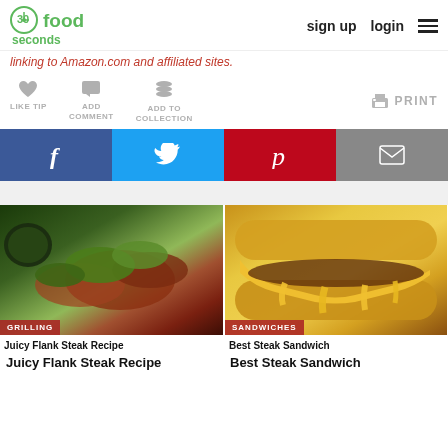30 seconds food | sign up | login
linking to Amazon.com and affiliated sites.
LIKE TIP | ADD COMMENT | ADD TO COLLECTION | PRINT
[Figure (screenshot): Social share buttons: Facebook, Twitter, Pinterest, Email]
[Figure (photo): Two food photos side by side: left shows grilled flank steak with green chimichurri sauce labeled GRILLING, right shows a steak sandwich with melted cheese labeled SANDWICHES]
Juicy Flank Steak Recipe
Best Steak Sandwich